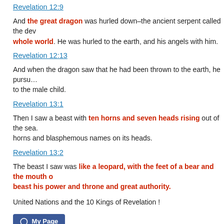Revelation 12:9
And the great dragon was hurled down–the ancient serpent called the dev… whole world. He was hurled to the earth, and his angels with him.
Revelation 12:13
And when the dragon saw that he had been thrown to the earth, he pursu… to the male child.
Revelation 13:1
Then I saw a beast with ten horns and seven heads rising out of the sea. horns and blasphemous names on its heads.
Revelation 13:2
The beast I saw was like a leopard, with the feet of a bear and the mouth … beast his power and throne and great authority.
United Nations and the 10 Kings of Revelation !
[Figure (other): Facebook My Page button and Like button with count 31]